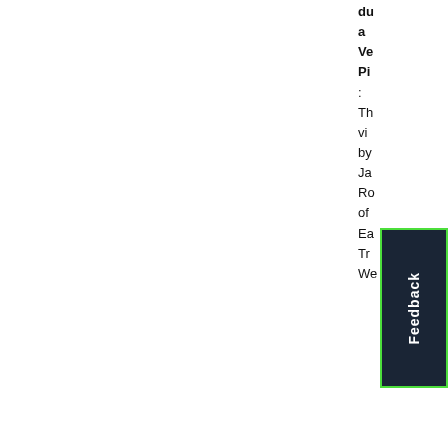du a Ve Pi : Th vi by Ja Ro of Ea Tr We
[Figure (other): Feedback button rotated vertically with dark navy background and green border]